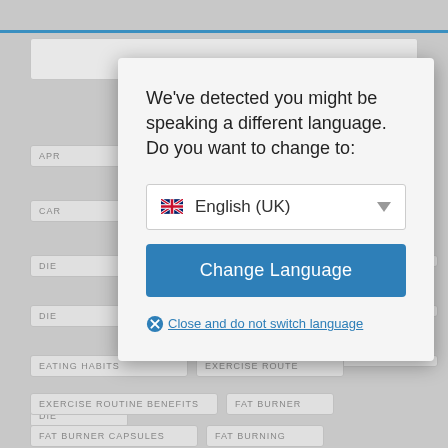[Figure (screenshot): Background webpage with gray category tags: APR, CAR, DIE (multiple), EATING HABITS, EXERCISE ROUTINE, EXERCISE ROUTINE BENEFITS, FAT BURNER, FAT BURNER CAPSULES, FAT BURNING]
We've detected you might be speaking a different language. Do you want to change to:
English (UK)
Change Language
Close and do not switch language